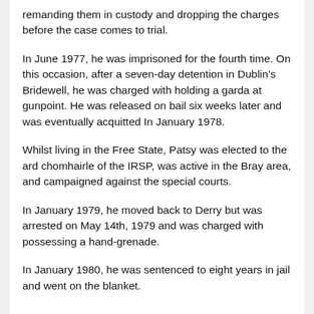remanding them in custody and dropping the charges before the case comes to trial.
In June 1977, he was imprisoned for the fourth time. On this occasion, after a seven-day detention in Dublin's Bridewell, he was charged with holding a garda at gunpoint. He was released on bail six weeks later and was eventually acquitted In January 1978.
Whilst living in the Free State, Patsy was elected to the ard chomhairle of the IRSP, was active in the Bray area, and campaigned against the special courts.
In January 1979, he moved back to Derry but was arrested on May 14th, 1979 and was charged with possessing a hand-grenade.
In January 1980, he was sentenced to eight years in jail and went on the blanket.